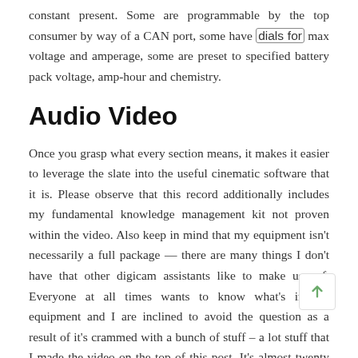constant present. Some are programmable by the top consumer by way of a CAN port, some have dials for max voltage and amperage, some are preset to specified battery pack voltage, amp-hour and chemistry.
Audio Video
Once you grasp what every section means, it makes it easier to leverage the slate into the useful cinematic software that it is. Please observe that this record additionally includes my fundamental knowledge management kit not proven within the video. Also keep in mind that my equipment isn't necessarily a full package — there are many things I don't have that other digicam assistants like to make use of. Everyone at all times wants to know what's in my equipment and I are inclined to avoid the question as a result of it's crammed with a bunch of stuff – a lot stuff that I made the video on the top of this post. It's almost twenty minutes